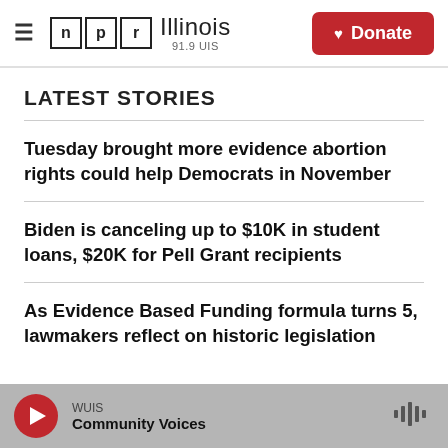NPR Illinois 91.9 UIS | Donate
LATEST STORIES
Tuesday brought more evidence abortion rights could help Democrats in November
Biden is canceling up to $10K in student loans, $20K for Pell Grant recipients
As Evidence Based Funding formula turns 5, lawmakers reflect on historic legislation
WUIS Community Voices